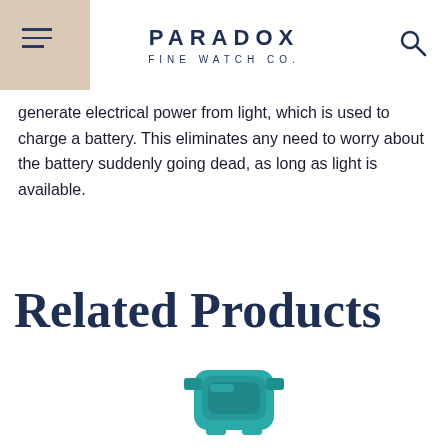PARADOX FINE WATCH CO.
generate electrical power from light, which is used to charge a battery. This eliminates any need to worry about the battery suddenly going dead, as long as light is available.
Related Products
[Figure (photo): Partial view of a teal/turquoise colored watch at the bottom of the page]